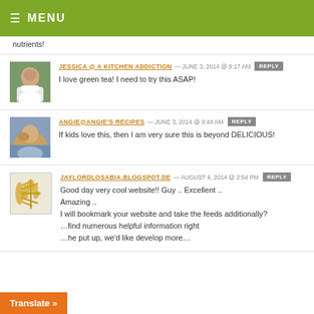☰  MENU
nutrients!
JESSICA @ A KITCHEN ADDICTION — JUNE 3, 2014 @ 9:17 AM  REPLY
I love green tea! I need to try this ASAP!
ANGIE@ANGIE'S RECIPES — JUNE 3, 2014 @ 9:44 AM  REPLY
If kids love this, then I am very sure this is beyond DELICIOUS!
JAYLORDLOSABIA.BLOGSPOT.DE — AUGUST 4, 2014 @ 2:54 PM  REPLY
Good day very cool website!! Guy .. Excellent .. Amazing ..
I will bookmark your website and take the feeds additionally?
…find numerous helpful information right
…he put up, we'd like develop more…
Translate »